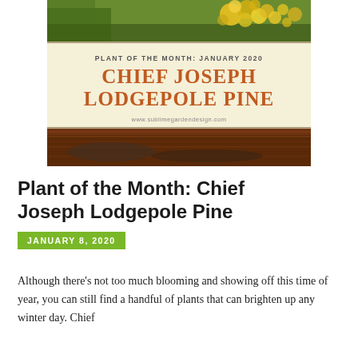[Figure (photo): Banner image of Chief Joseph Lodgepole Pine plant of the month card for January 2020. Top portion shows yellow flowering plants against green foliage. Middle section is a cream/beige card with the text 'PLANT OF THE MONTH: JANUARY 2020', 'CHIEF JOSEPH LODGEPOLE PINE' in large orange serif font, and 'www.sublimegardendesign.com'. Bottom portion shows dark reddish-brown bark or mulch ground cover with horizontal stripe lines.]
Plant of the Month: Chief Joseph Lodgepole Pine
JANUARY 8, 2020
Although there's not too much blooming and showing off this time of year, you can still find a handful of plants that can brighten up any winter day. Chief